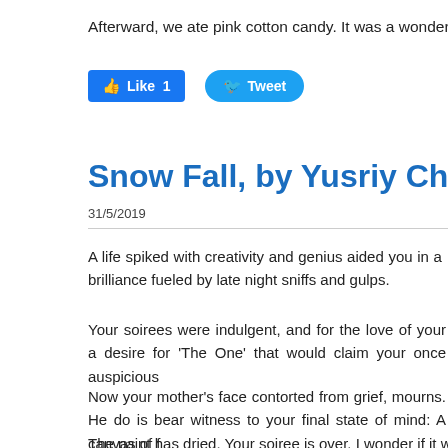Afterward, we ate pink cotton candy. It was a wonderful da
[Figure (other): Social media buttons: Facebook Like (1) and Twitter Tweet]
Snow Fall, by Yusriy Charles
31/5/2019
A life spiked with creativity and genius aided you in a brilliance fueled by late night sniffs and gulps.
Your soirees were indulgent, and for the love of your a desire for 'The One' that would claim your once auspicious
Now your mother's face contorted from grief, mourns. He do is bear witness to your final state of mind: A canvas of f
The paint has dried. Your soiree is over. I wonder if it was